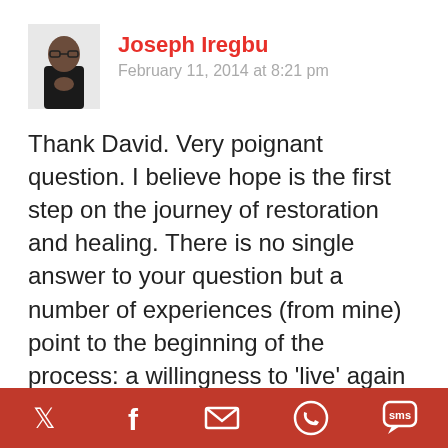[Figure (photo): Avatar photo of Joseph Iregbu, a man in a dark shirt with hands clasped]
Joseph Iregbu
February 11, 2014 at 8:21 pm
Thank David. Very poignant question. I believe hope is the first step on the journey of restoration and healing. There is no single answer to your question but a number of experiences (from mine) point to the beginning of the process: a willingness to ‘live’ again and forge ahead regardless of the past. From my experience
[Figure (infographic): Footer bar with social media icons: Twitter, Facebook, Email, WhatsApp, SMS on red background]